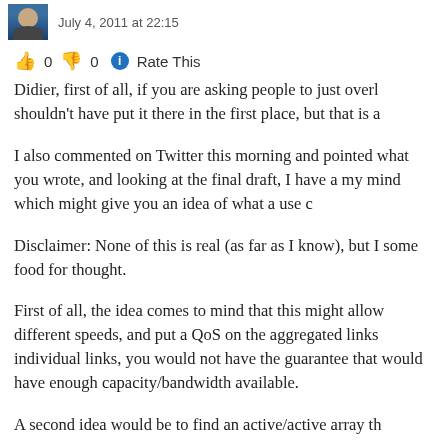July 4, 2011 at 22:15
👍 0 👎 0 ℹ Rate This
Didier, first of all, if you are asking people to just overl shouldn't have put it there in the first place, but that is a
I also commented on Twitter this morning and pointed what you wrote, and looking at the final draft, I have a my mind which might give you an idea of what a use c
Disclaimer: None of this is real (as far as I know), but I some food for thought.
First of all, the idea comes to mind that this might allow different speeds, and put a QoS on the aggregated links individual links, you would not have the guarantee that would have enough capacity/bandwidth available.
A second idea would be to find an active/active array th